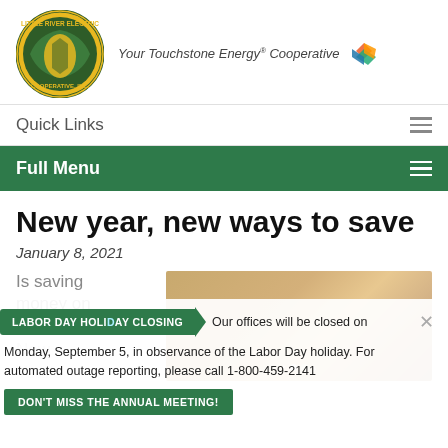[Figure (logo): Little River Electric Cooperative Inc. circular logo in green and gold, with South Carolina state outline. Next to it: 'Your Touchstone Energy® Cooperative' with colorful pinwheel logo.]
Quick Links
Full Menu
New year, new ways to save
January 8, 2021
Is saving money on your list of New Year's
[Figure (photo): Photo of a person's hands near a light-colored surface, blurred warm background.]
LABOR DAY HOLIDAY CLOSING  Our offices will be closed on Monday, September 5, in observance of the Labor Day holiday. For automated outage reporting, please call 1-800-459-2141
DON'T MISS THE ANNUAL MEETING!